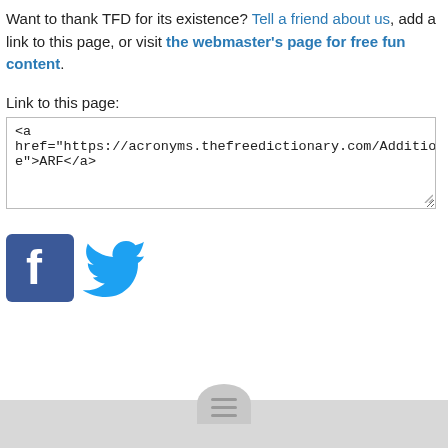Want to thank TFD for its existence? Tell a friend about us, add a link to this page, or visit the webmaster's page for free fun content.
Link to this page:
<a href="https://acronyms.thefreedictionary.com/Additional+Registration+Fe e">ARF</a>
[Figure (logo): Facebook logo icon (blue square with white 'f') and Twitter bird logo icon (light blue bird)]